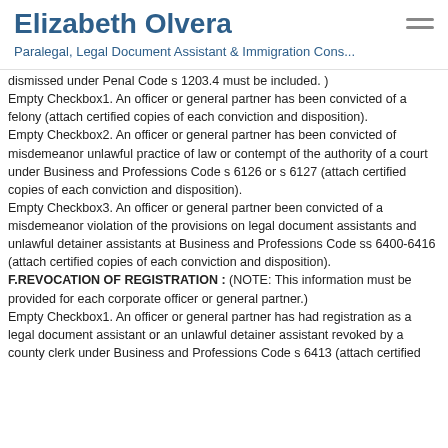Elizabeth Olvera
Paralegal, Legal Document Assistant & Immigration Cons...
dismissed under Penal Code s 1203.4 must be included. )
Empty Checkbox1. An officer or general partner has been convicted of a felony (attach certified copies of each conviction and disposition).
Empty Checkbox2. An officer or general partner has been convicted of misdemeanor unlawful practice of law or contempt of the authority of a court under Business and Professions Code s 6126 or s 6127 (attach certified copies of each conviction and disposition).
Empty Checkbox3. An officer or general partner been convicted of a misdemeanor violation of the provisions on legal document assistants and unlawful detainer assistants at Business and Professions Code ss 6400-6416 (attach certified copies of each conviction and disposition).
F.REVOCATION OF REGISTRATION : (NOTE: This information must be provided for each corporate officer or general partner.)
Empty Checkbox1. An officer or general partner has had registration as a legal document assistant or an unlawful detainer assistant revoked by a county clerk under Business and Professions Code s 6413 (attach certified